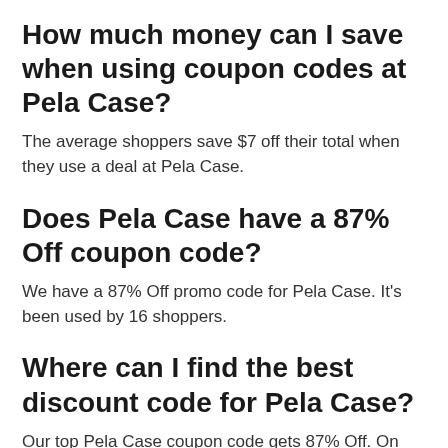How much money can I save when using coupon codes at Pela Case?
The average shoppers save $7 off their total when they use a deal at Pela Case.
Does Pela Case have a 87% Off coupon code?
We have a 87% Off promo code for Pela Case. It's been used by 16 shoppers.
Where can I find the best discount code for Pela Case?
Our top Pela Case coupon code gets 87% Off. On average